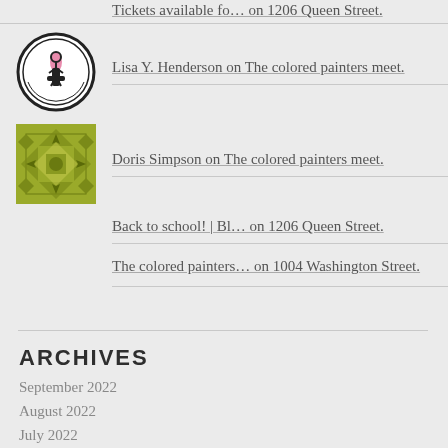Tickets available fo… on 1206 Queen Street.
[Figure (logo): Circular logo with wrench and figure, black and pink on white background]
Lisa Y. Henderson on The colored painters meet.
[Figure (illustration): Olive/yellow-green geometric patterned square image]
Doris Simpson on The colored painters meet.
Back to school! | Bl… on 1206 Queen Street.
The colored painters… on 1004 Washington Street.
ARCHIVES
September 2022
August 2022
July 2022